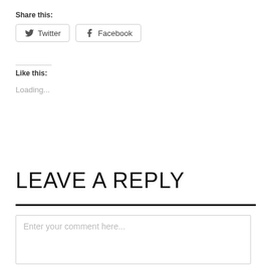Share this:
Twitter  Facebook
Like this:
Loading...
LEAVE A REPLY
Enter your comment here...